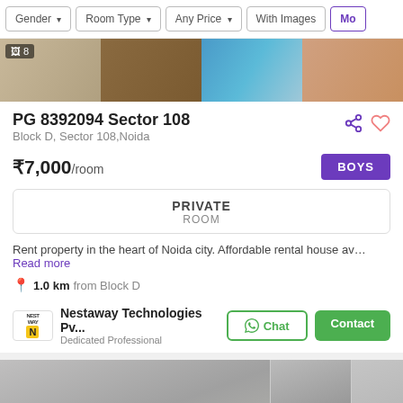Gender | Room Type | Any Price | With Images | Mo
[Figure (photo): Property interior image strip showing 8 photos: wooden floor room, furniture with orange chairs, blue room/bed area, and blurred exterior]
PG 8392094 Sector 108
Block D, Sector 108,Noida
₹7,000/room
BOYS
PRIVATE ROOM
Rent property in the heart of Noida city. Affordable rental house av… Read more
1.0 km from Block D
Nestaway Technologies Pv... Dedicated Professional
[Figure (photo): Bottom section showing blurred room interior photos and a floating toolbar pill with Sort, Saved, Filter options]